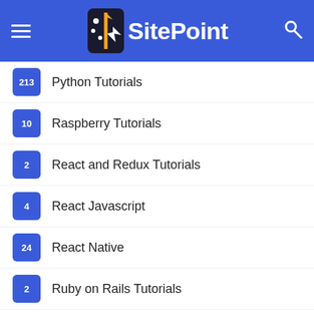SitePoint
213 Python Tutorials
10 Raspberry Tutorials
2 React and Redux Tutorials
4 React Javascript
24 React Native
2 Ruby on Rails Tutorials
1 Sass & SCSS
1 SASS Tutorials
19 SEO
2 Shopify
13 Shopify Tutorials
2 Social Media Marketing Tutorials